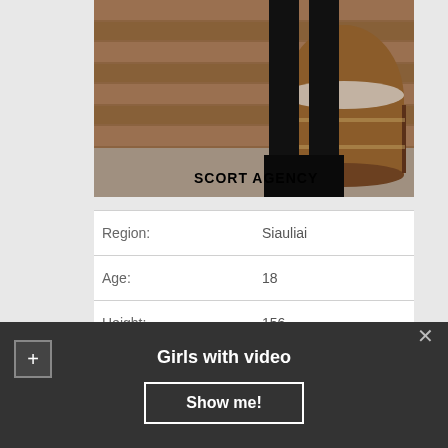[Figure (photo): Photo of a person wearing black thigh-high boots/stockings, standing near a wooden barrel. Watermark text 'ESCORT AGENCY' visible at the bottom right of the image.]
| Label | Value |
| --- | --- |
| Region: | Siauliai |
| Age: | 18 |
| Height: | 156 |
| Body weight: | 66 |
| Availability: | 11:00 – 21:00 |
Girls with video
Show me!